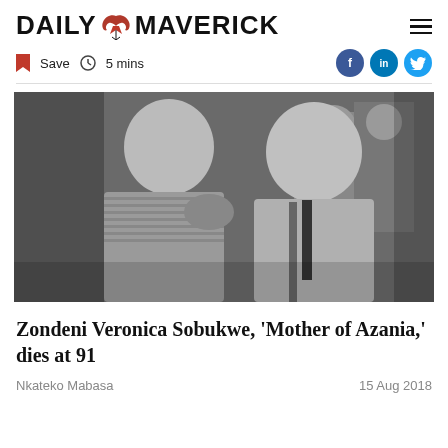DAILY MAVERICK
Save  5 mins
[Figure (photo): Black and white photograph of two people, a woman in a striped shirt and a man in a jacket and tie, with other people visible in the background.]
Zondeni Veronica Sobukwe, 'Mother of Azania,' dies at 91
Nkateko Mabasa
15 Aug 2018